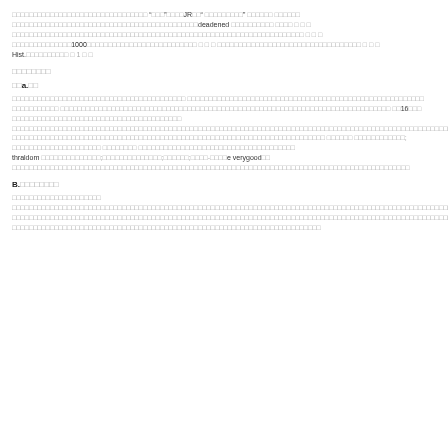□□□□□□□□□□□□□□□□□□□□□□□□□□□□□□□□ “□□□”□□□□JR□□“ □□□□□□□□□” □□□□□□ □□□□□□ □□□□□□□□□□□□□□□□□□□□□□□□□□□□□□□□□□□□□□□□□□□□deadened □□□□□□□□□□ □□□□ □ □ □ □□□□□□□□□□□□□□□□□□□□□□□□□□□□□□□□□□□□□□□□□□□□□□□□□□□□□□□□□□□□□□□□□□□□□ □ □ □ □□□□□□□□□□□□□□1000□□□□□□□□□□□□□□□□□□□□□□□□□□ □ □ □ □□□□□□□□□□□□□□□□□□□□□□□□□□□□□□□□□□ □ □ □ Hist.□□□□□□□□□□ □ 1 □ □
□□□□□□□□
□□a.□□
□□□□□□□□□□□□□□□□□□□□□□□□□□□□□□□□□□□□□□□□□ □□□□□□□□□□□□□□□□□□□□□□□□□□□□□□□□□□□□□□□□□□□□□□□□□□□□□□□□ □□□□□□□□□□□ □□□□□□□□□□□□□□□□□□□□□□□□□□□□□□□□□□□□□□□□□□□□□□□□□□□□□□□□□□□□□□□□□□□□□□□□□□□□□□ □□16□□□ □□□□□□□□□□□□□□□□□□□□□□□□□□□□□□□□□□□□□□□□ □□□□□□□□□□□□□□□□□□□□□□□□□□□□□□□□□□□□□□□□□□□□□□□□□□□□□□□□□□□□□□□□□□□□□□□□□□□□□□□□□□□□□□□□□□□□□□□□□□□□□□□□□□□□□ □□□□□□□□□□□□□□□□□□□□□□□□□□□□□□□□□□□□□□□□□□□□□□□□□□□□□□□□□□□□□□□□□□□□□□□□□□ □□□□□□ □□□□□□□□□□□□; □□□□□□□□□□□□□□□□□□□□□ □□□□□□□□ □□□□□□□□□□□□□□□□□□□□□□□□□□□□□□□□□□□□□ thraldom □□□□□□□□□□□□□□;□□□□□□□□□□□□□□;□□□□□□;□□□□-□□□□e verygood□□ □□□□□□□□□□□□□□□□□□□□□□□□□□□□□□□□□□□□□□□□□□□□□□□□□□□□□□□□□□□□□□□□□□□□□□□□□□□□□□□□□□□□□□□□□□□□□□
B.□□□□□□□□
□□□□□□□□□□□□□□□□□□□□□ □□□□□□□□□□□□□□□□□□□□□□□□□□□□□□□□□□□□□□□□□□□□□□□□□□□□□□□□□□□□□□□□□□□□□□□□□□□□□□□□□□□□□□□□□□□□□□□□□□□□□□□□□ □□□□□□□□□□□□□□□□□□□□□□□□□□□□□□□□□□□□□□□□□□□□□□□□□□□□□□□□□□□□□□□□□□□□□□□□□□□□□□□□□□□□□□□□□□□□□□□□□□□□□□□□□□□□□□□□□ □□□□□□□□□□□□□□□□□□□□□□□□□□□□□□□□□□□□□□□□□□□□□□□□□□□□□□□□□□□□□□□□□□□□□□□□□